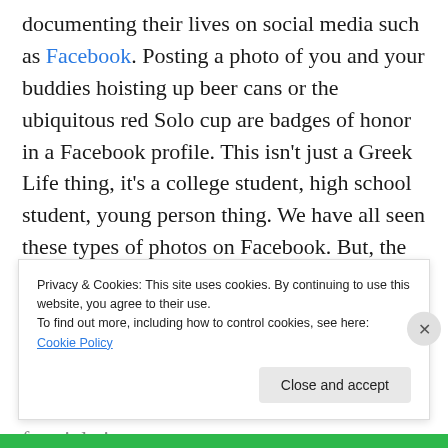documenting their lives on social media such as Facebook. Posting a photo of you and your buddies hoisting up beer cans or the ubiquitous red Solo cup are badges of honor in a Facebook profile. This isn't just a Greek Life thing, it's a college student, high school student, young person thing. We have all seen these types of photos on Facebook. But, the dynamic changes when you're representing an organization and not just yourself. It will be interesting to see if any national organizations impose a social media conduct policy with consequences for violations.
Privacy & Cookies: This site uses cookies. By continuing to use this website, you agree to their use. To find out more, including how to control cookies, see here: Cookie Policy